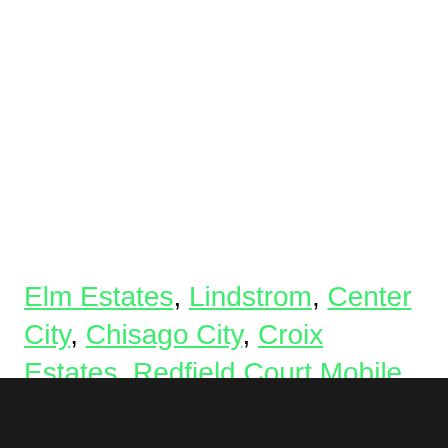Elm Estates, Lindstrom, Center City, Chisago City, Croix Estates, Redfield Court Mobile Home Park, Bonnie Glen, Shafer, South Terrace Mobile Home Park, Kost
[Figure (logo): Dark background section at bottom with partial white wing/logo shapes visible]